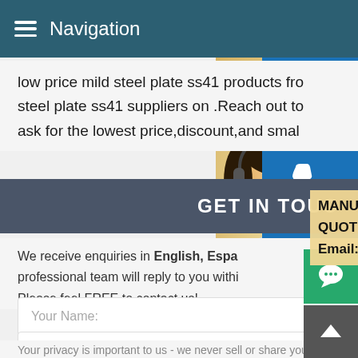Navigation
low price mild steel plate ss41 products from steel plate ss41 suppliers on .Reach out to ask for the lowest price,discount,and small
[Figure (photo): Customer service woman with headset, smiling]
[Figure (infographic): Three blue icon buttons: support headset, phone, and Skype icons on the right side]
GET IN TOUCH
[Figure (infographic): Overlay info box with MANUAL SE..., QUOTING O..., Email: bsteel1@163.com]
We receive enquiries in English, Espa... professional team will reply to you withi... Please feel FREE to contact us!
Your Name:
Your E-mail:
Your privacy is important to us - we never sell or share you